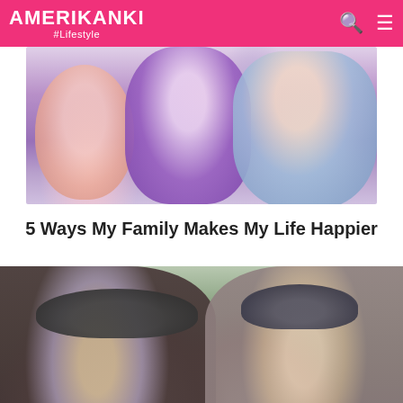AMERIKANKI #Lifestyle
[Figure (photo): Smiling family of four — young girl in pink, boy in purple polo, woman, and man — posed together close up]
5 Ways My Family Makes My Life Happier
[Figure (photo): Young stylish couple outdoors near water — man with long hair wearing a dark fedora hat, woman wearing a patterned cap and white sunglasses, smiling]